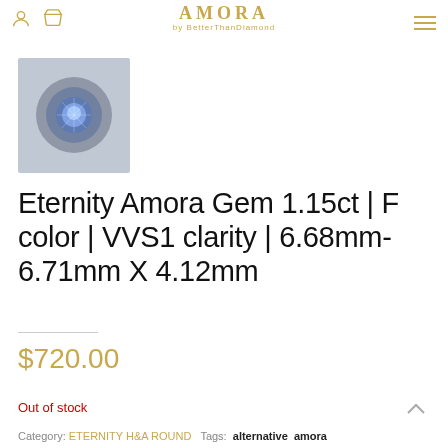AMORA by BetterThanDiamond
[Figure (photo): Small thumbnail of a round gemstone viewed from above, glowing blue-white, on a dark background inside a circular container]
Eternity Amora Gem 1.15ct | F color | VVS1 clarity | 6.68mm-6.71mm X 4.12mm
$720.00
Out of stock
Category: ETERNITY H&A ROUND   Tags: alternative   amora